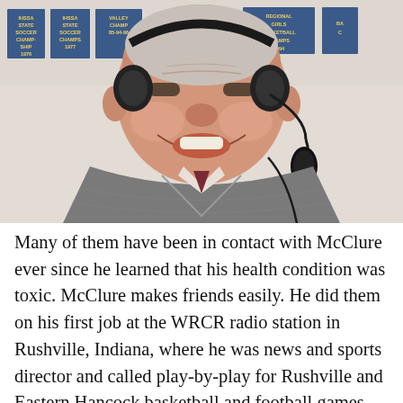[Figure (photo): An elderly man wearing a headset microphone, smiling broadly. He is wearing a gray cable-knit sweater vest over a plaid shirt. Behind him are blue championship banners on a gymnasium wall including IHSSA State Soccer Champions 1976, IHSSA State Soccer Champs 1977, IHSSA Girls Basketball Champs 1994, and others.]
Many of them have been in contact with McClure ever since he learned that his health condition was toxic. McClure makes friends easily. He did them on his first job at the WRCR radio station in Rushville, Indiana, where he was news and sports director and called play-by-play for Rushville and Eastern Hancock basketball and football games. He moved to New Port Richie, Florida to work on All-